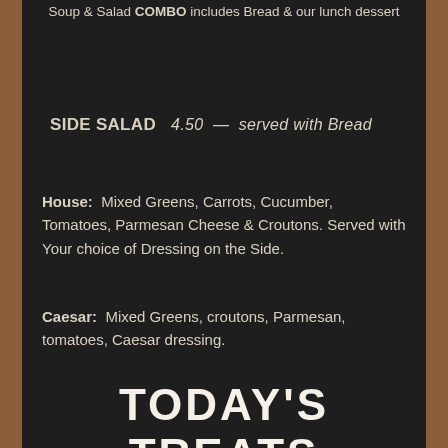Soup & Salad COMBO includes Bread & our lunch dessert
SIDE SALAD   4.50  —  served with Bread
House:  Mixed Greens, Carrots, Cucumber, Tomatoes, Parmesan Cheese & Croutons. Served with Your choice of Dressing on the Side.
Caesar:  Mixed Greens, croutons, Parmesan, tomatoes, Caesar dressing.
TODAY's TREATS